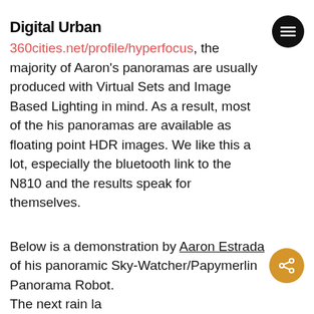Digital Urban
like. You can see more of his panoramas here: 360cities.net/profile/hyperfocus, the majority of Aaron's panoramas are usually produced with Virtual Sets and Image Based Lighting in mind. As a result, most of the his panoramas are available as floating point HDR images. We like this a lot, especially the bluetooth link to the N810 and the results speak for themselves.
Below is a demonstration by Aaron Estrada of his panoramic Sky-Watcher/Papymerlin Panorama Robot. The next rain la...